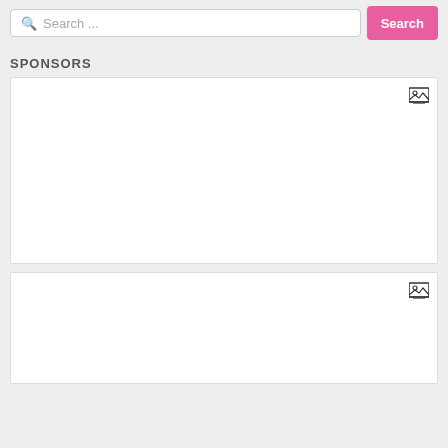Search ...  Search
SPONSORS
[Figure (other): Advertisement placeholder box 1 with image icon in top-right corner]
[Figure (other): Advertisement placeholder box 2 with image icon in top-right corner]